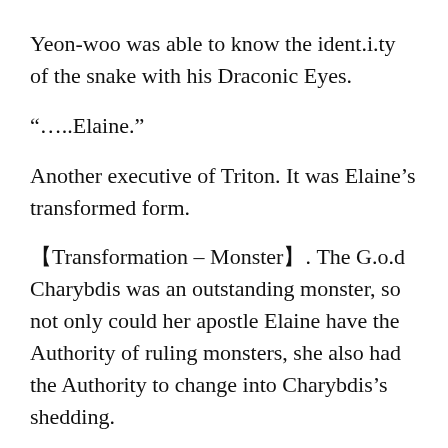Yeon-woo was able to know the ident.i.ty of the snake with his Draconic Eyes.
“…..Elaine.”
Another executive of Triton. It was Elaine’s transformed form.
【Transformation – Monster】. The G.o.d Charybdis was an outstanding monster, so not only could her apostle Elaine have the Authority of ruling monsters, she also had the Authority to change into Charybdis’s shedding.
However, Elaine didn’t like transforming into a monster. The fact that she had turned into this form meant one thing.